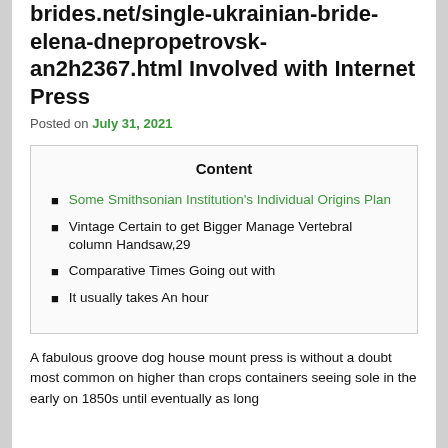brides.net/single-ukrainian-bride-elena-dnepropetrovsk-an2h2367.html Involved with Internet Press
Posted on July 31, 2021
Content
Some Smithsonian Institution's Individual Origins Plan
Vintage Certain to get Bigger Manage Vertebral column Handsaw,29
Comparative Times Going out with
It usually takes An hour
A fabulous groove dog house mount press is without a doubt most common on higher than crops containers seeing sole in the early on 1850s until eventually as long